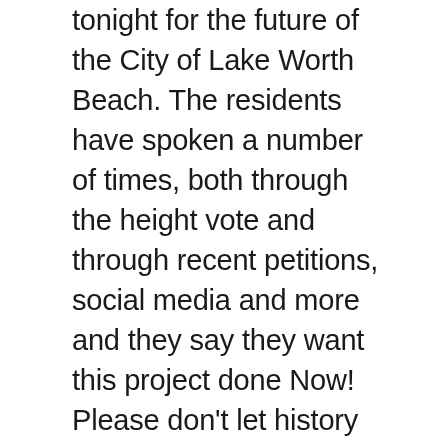tonight for the future of the City of Lake Worth Beach. The residents have spoken a number of times, both through the height vote and through recent petitions, social media and more and they say they want this project done Now! Please don't let history repeat itself and plague this project with delays, lawsuits or worse, the building finally giving in to the heat, humidity and lack of love and respect both the building and its investors deserve. Are you ready to tell your neighbors and voters that you could NOT get this job done? Are you ready to tell the 25% of LWB people below the poverty level in need of jobs